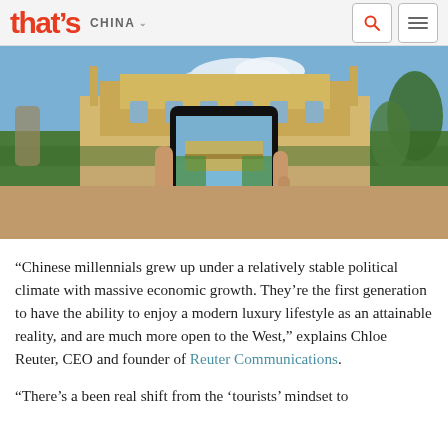that's CHINA
[Figure (photo): A hand holding a smartphone taking a photo of a European-style palace or manor house with green gardens and blue sky, outdoor setting]
“Chinese millennials grew up under a relatively stable political climate with massive economic growth. They’re the first generation to have the ability to enjoy a modern luxury lifestyle as an attainable reality, and are much more open to the West,” explains Chloe Reuter, CEO and founder of Reuter Communications.
“There’s a been real shift from the ‘tourists’ mindset to